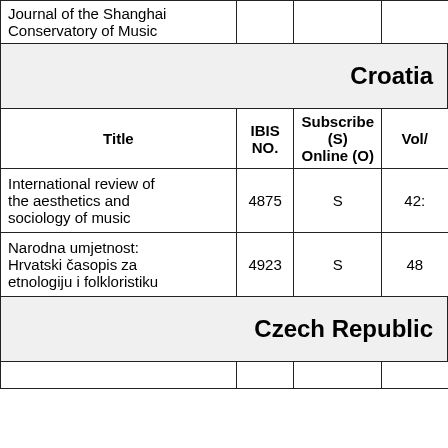| Title | IBIS NO. | Subscribe (S) Online (O) | Vol/ |
| --- | --- | --- | --- |
| Journal of the Shanghai Conservatory of Music |  |  |  |
| Croatia |  |  |  |
| Title | IBIS NO. | Subscribe (S) Online (O) | Vol/ |
| International review of the aesthetics and sociology of music | 4875 | S | 42: |
| Narodna umjetnost: Hrvatski časopis za etnologiju i folkloristiku | 4923 | S | 48 |
| Czech Republic |  |  |  |